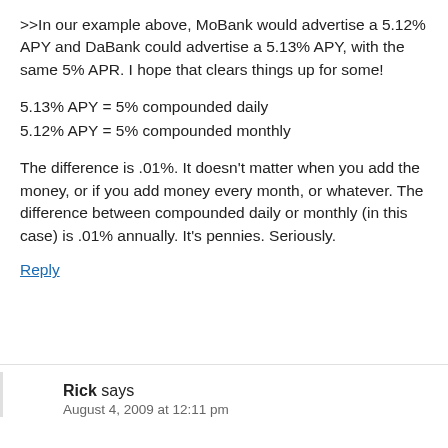>>In our example above, MoBank would advertise a 5.12% APY and DaBank could advertise a 5.13% APY, with the same 5% APR. I hope that clears things up for some!
5.13% APY = 5% compounded daily
5.12% APY = 5% compounded monthly
The difference is .01%. It doesn't matter when you add the money, or if you add money every month, or whatever. The difference between compounded daily or monthly (in this case) is .01% annually. It's pennies. Seriously.
Reply
Rick says
August 4, 2009 at 12:11 pm